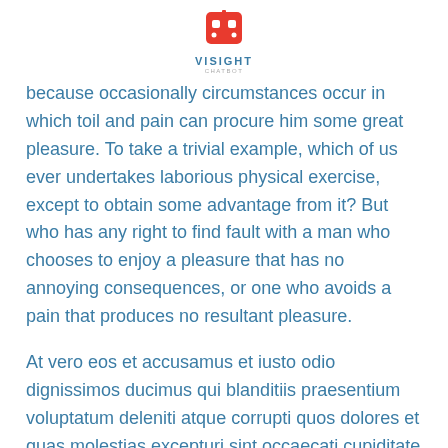VISIGHT CHATBOT
because occasionally circumstances occur in which toil and pain can procure him some great pleasure. To take a trivial example, which of us ever undertakes laborious physical exercise, except to obtain some advantage from it? But who has any right to find fault with a man who chooses to enjoy a pleasure that has no annoying consequences, or one who avoids a pain that produces no resultant pleasure.
At vero eos et accusamus et iusto odio dignissimos ducimus qui blanditiis praesentium voluptatum deleniti atque corrupti quos dolores et quas molestias excepturi sint occaecati cupiditate non provident, similique sunt in culpa qui officia deserunt mollitia animi, id est laborum et dolorum fuga. Et harum quidem rerum facilis est et expedita distinctio. Nam libero tempore, cum soluta nobis est